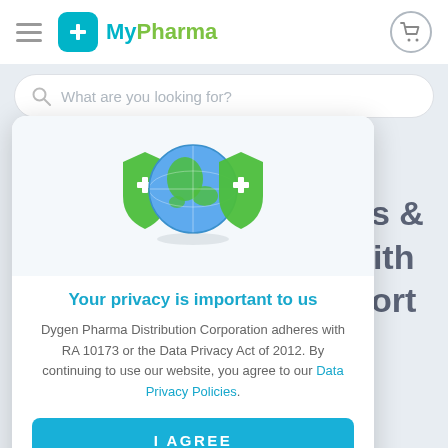MyPharma
What are you looking for?
Bones & Joints with Support
[Figure (illustration): Globe with two green medical cross shield icons on either side, representing data privacy and protection]
Your privacy is important to us
Dygen Pharma Distribution Corporation adheres with RA 10173 or the Data Privacy Act of 2012. By continuing to use our website, you agree to our Data Privacy Policies.
I AGREE